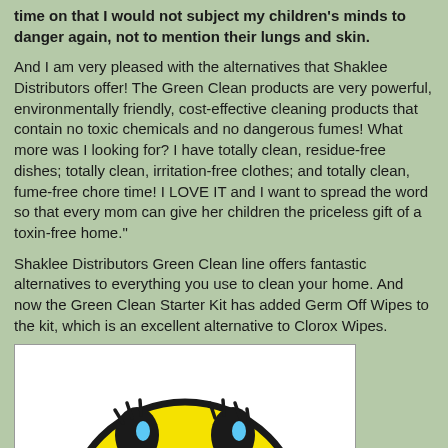time on that I would not subject my children's minds to danger again, not to mention their lungs and skin.
And I am very pleased with the alternatives that Shaklee Distributors offer! The Green Clean products are very powerful, environmentally friendly, cost-effective cleaning products that contain no toxic chemicals and no dangerous fumes! What more was I looking for? I have totally clean, residue-free dishes; totally clean, irritation-free clothes; and totally clean, fume-free chore time! I LOVE IT and I want to spread the word so that every mom can give her children the priceless gift of a toxin-free home."
Shaklee Distributors Green Clean line offers fantastic alternatives to everything you use to clean your home. And now the Green Clean Starter Kit has added Germ Off Wipes to the kit, which is an excellent alternative to Clorox Wipes.
[Figure (illustration): Smiley face emoji illustration with yellow face, dark eyes with blue highlights, on white background]